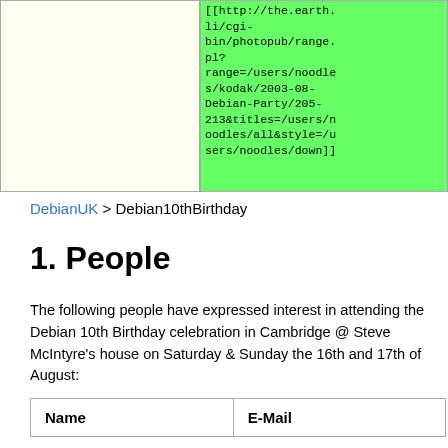[Figure (screenshot): Two-cell table row: left cell is pale yellow (empty), right cell has green background with monospace wiki markup text: [[http://the.earth.li/cgi-bin/photopub/range.pl?range=/users/noodles/kodak/2003-08-Debian-Party/205-213&titles=/users/noodles/all&style=/users/noodles/down]]]
DebianUK > Debian10thBirthday
1. People
The following people have expressed interest in attending the Debian 10th Birthday celebration in Cambridge @ Steve McIntyre's house on Saturday & Sunday the 16th and 17th of August:
| Name | E-Mail |
| --- | --- |